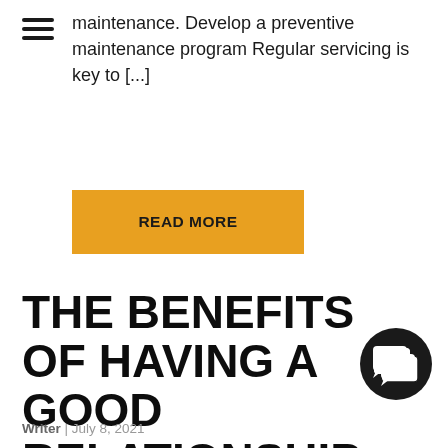maintenance. Develop a preventive maintenance program Regular servicing is key to [...]
READ MORE
THE BENEFITS OF HAVING A GOOD RELATIONSHIP WITH YOUR MECHANIC
[Figure (illustration): Dark circular chat/comment icon with two overlapping speech bubble rectangles]
Writer | July 8, 2021